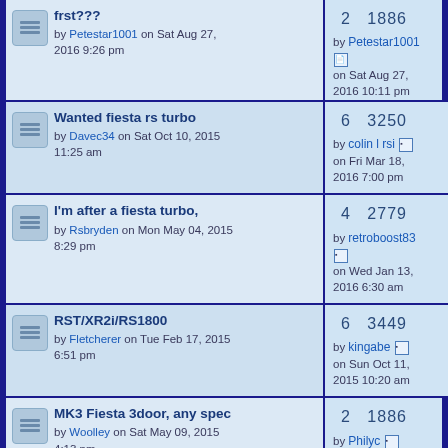frst??? by Petestar1001 on Sat Aug 27, 2016 9:26 pm | 2 1886 by Petestar1001 on Sat Aug 27, 2016 10:11 pm
Wanted fiesta rs turbo by Davec34 on Sat Oct 10, 2015 11:25 am | 6 3250 by colin l rsi on Fri Mar 18, 2016 7:00 pm
I'm after a fiesta turbo, by Rsbryden on Mon May 04, 2015 8:29 pm | 4 2779 by retroboost83 on Wed Jan 13, 2016 6:30 am
RST/XR2i/RS1800 by Fletcherer on Tue Feb 17, 2015 6:51 pm | 6 3449 by kingabe on Sun Oct 11, 2015 10:20 am
MK3 Fiesta 3door, any spec by Woolley on Sat May 09, 2015 4:13 pm | 2 1886 by Philyc on Thu Jun 04,